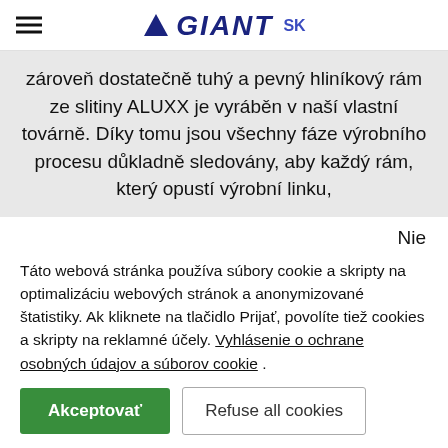GIANT SK
zároveň dostatečně tuhý a pevný hliníkový rám ze slitiny ALUXX je vyráběn v naší vlastní továrně. Díky tomu jsou všechny fáze výrobního procesu důkladně sledovány, aby každý rám, který opustí výrobní linku,
Nie
Táto webová stránka používa súbory cookie a skripty na optimalizáciu webových stránok a anonymizované štatistiky. Ak kliknete na tlačidlo Prijať, povolíte tiež cookies a skripty na reklamné účely. Vyhlásenie o ochrane osobných údajov a súborov cookie .
Akceptovať
Refuse all cookies
Nastavenia